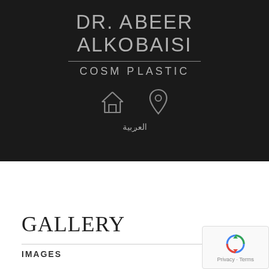[Figure (logo): Dr. Abeer Alkobaisi Cosm Plastic clinic logo on dark background with home and location icons and Arabic text العربية]
[Figure (screenshot): Mobile navigation bar with hamburger menu icon on light grey background]
GALLERY
IMAGES
[Figure (logo): reCAPTCHA badge with circular arrow icon and Privacy - Terms text]